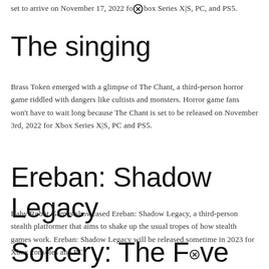set to arrive on November 17, 2022 for Xbox Series X|S, PC, and PS5.
The singing
Brass Token emerged with a glimpse of The Chant, a third-person horror game riddled with dangers like cultists and monsters. Horror game fans won't have to wait long because The Chant is set to be released on November 3rd, 2022 for Xbox Series X|S, PC and PS5.
Ereban: Shadow Legacy
Baby Robot Games showcased Ereban: Shadow Legacy, a third-person stealth platformer that aims to shake up the usual tropes of how stealth games work. Ereban: Shadow Legacy will be released sometime in 2023 for Xbox consoles and PC.
Sorcery: The Five Trials